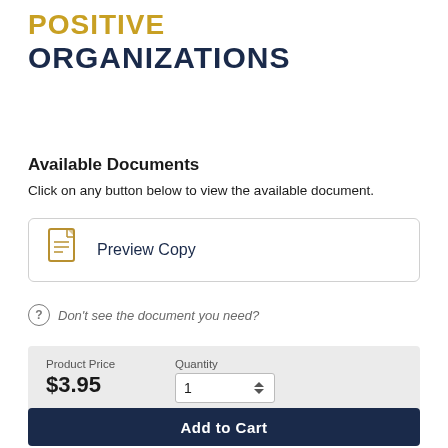POSITIVE ORGANIZATIONS
Available Documents
Click on any button below to view the available document.
Preview Copy
Don't see the document you need?
Product Price $3.95  Quantity 1
Add to Cart